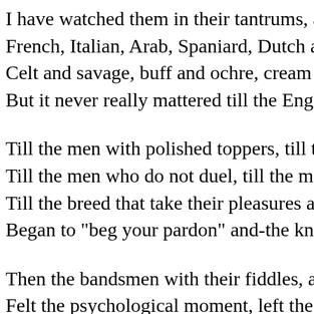I have watched them in their tantrums, all that Pentecos-
French, Italian, Arab, Spaniard, Dutch and Greek, and R-
Celt and savage, buff and ochre, cream and yellow, mau-
But it never really mattered till the English grew polite;
Till the men with polished toppers, till the men in long f-
Till the men who do not duel, till the men who war with-
Till the breed that take their pleasures as Saint Lawrenc-
Began to "beg your pardon" and-the knowing croupier k-
Then the bandsmen with their fiddles, and the girls that-
Felt the psychological moment, left the lit Casino clear;
But the uninstructed alien, from the Teuton to the Gaul,
Was entrapped, once more, my country, by that suave, d-
As it was in ancient Suez or ʻneath wilder, milder skies,
I "observe with apprehension" how the racial ructions ri-
And with keener apprehension, if I read the times aright-
Hear the old Casino order: "Watch your man, but be pol-